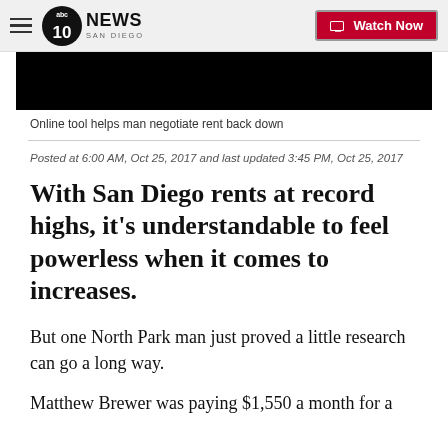10News San Diego — Watch Now
[Figure (photo): Black video thumbnail block]
Online tool helps man negotiate rent back down
Posted at 6:00 AM, Oct 25, 2017 and last updated 3:45 PM, Oct 25, 2017
With San Diego rents at record highs, it's understandable to feel powerless when it comes to increases.
But one North Park man just proved a little research can go a long way.
Matthew Brewer was paying $1,550 a month for a